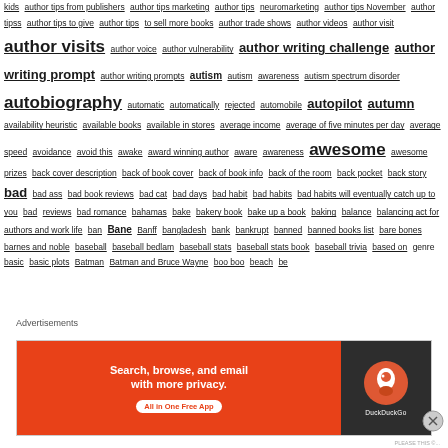kids author tips from publishers author tips marketing author tips neuromarketing author tips November author tipss author tips to give author tips to sell more books author trade shows author videos author visit author visits author voice author vulnerability author writing challenge author writing prompt author writing prompts autism autism awareness autism spectrum disorder autobiography automatic automatically rejected automobile autopilot autumn availability heuristic available books available in stores average income average of five minutes per day average speed avoidance avoid this awake award winning author aware awareness awesome awesome prizes back cover description back of book cover back of book info back of the room back pocket back story bad bad ass bad book reviews bad cat bad days bad habit bad habits bad habits will eventually catch up to you bad reviews bad romance bahamas bake bakery book bake up a book baking balance balancing act for authors and work life ban Bane Banff bangladesh bank bankrupt banned banned books list bare bones barnes and noble baseball baseball bedlam baseball stats baseball stats book baseball trivia based on ...
[Figure (infographic): DuckDuckGo advertisement banner: orange left panel with text 'Search, browse, and email with more privacy. All in One Free App', white pill button, and dark right panel with DuckDuckGo circular logo]
Advertisements